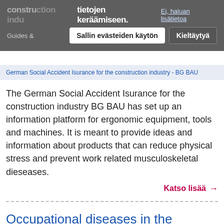construction industry - tietojen keräämiseen. Ei, haluan lisätietoa
Sallin evästeiden käytön   Kieltäytyä
German Social Accident Isurance for the construction industry - BG BAU
The German Social Accident Isurance for the construction industry BG BAU has set up an information platform for ergonomic equipment, tools and machines. It is meant to provide ideas and information about products that can reduce physical stress and prevent work related musculoskeletal dieseases.
Katso lisää →
Occupational diseases in the construction sector